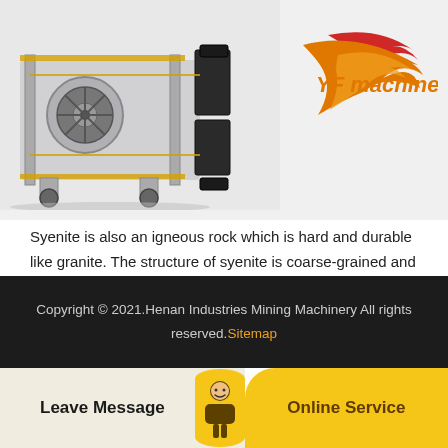[Figure (illustration): 3D rendering of industrial mining/crushing machinery equipment on left, with YF machinery logo on right side]
Syenite is also an igneous rock which is hard and durable like granite. The structure of syenite is coarse-grained and its crushing strength varies from 90 to 150 MPa. It is available in different colors but typically they are light in color. Uses. Crushed syenite is commonly used as aggregates in pavement construction and concrete making.
Copyright © 2021.Henan Industries Mining Machinery All rights reserved.Sitemap
Leave Message
Online Service